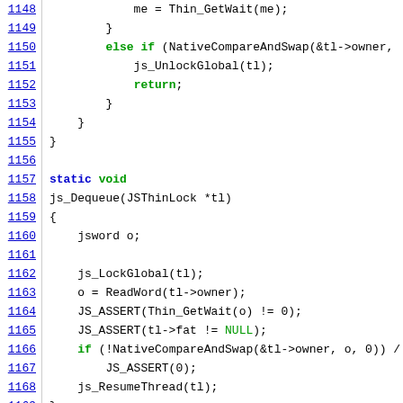[Figure (screenshot): Source code listing showing C/C++ function code for js_Dequeue(JSThinLock *tl) with line numbers 1148–1170. Lines include closing braces, else if statement with NativeCompareAndSwap, return, static void declaration, function body with jsword o, js_LockGlobal, ReadWord, JS_ASSERT calls, if block with NativeCompareAndSwap, JS_ASSERT(0), and js_ResumeThread.]